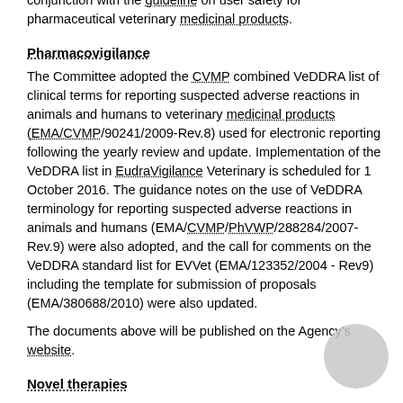conjunction with the guideline on user safety for pharmaceutical veterinary medicinal products.
Pharmacovigilance
The Committee adopted the CVMP combined VeDDRA list of clinical terms for reporting suspected adverse reactions in animals and humans to veterinary medicinal products (EMA/CVMP/90241/2009-Rev.8) used for electronic reporting following the yearly review and update. Implementation of the VeDDRA list in EudraVigilance Veterinary is scheduled for 1 October 2016. The guidance notes on the use of VeDDRA terminology for reporting suspected adverse reactions in animals and humans (EMA/CVMP/PhVWP/288284/2007-Rev.9) were also adopted, and the call for comments on the VeDDRA standard list for EVVet (EMA/123352/2004 - Rev9) including the template for submission of proposals (EMA/380688/2010) were also updated.
The documents above will be published on the Agency's website.
Novel therapies